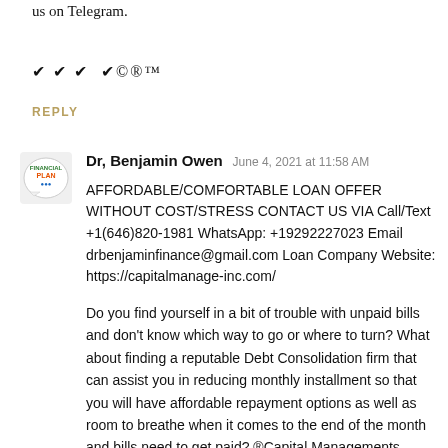us on Telegram.
✔ ✔ ✔ ✔©®™
REPLY
Dr, Benjamin Owen  June 4, 2021 at 11:58 AM
AFFORDABLE/COMFORTABLE LOAN OFFER WITHOUT COST/STRESS CONTACT US VIA Call/Text +1(646)820-1981 WhatsApp: +19292227023 Email drbenjaminfinance@gmail.com Loan Company Website: https://capitalmanage-inc.com/
Do you find yourself in a bit of trouble with unpaid bills and don't know which way to go or where to turn? What about finding a reputable Debt Consolidation firm that can assist you in reducing monthly installment so that you will have affordable repayment options as well as room to breathe when it comes to the end of the month and bills need to get paid? ®Capital Managements Inc™ is the solution to your